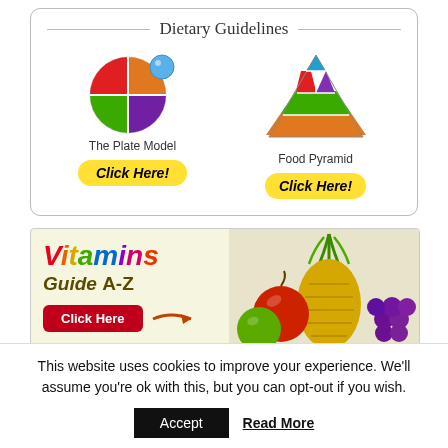Dietary Guidelines
[Figure (illustration): The Plate Model icon - a circular plate divided into four colored quadrants (red, orange, green, purple) with a blue circle (cup) in top right]
The Plate Model
[Figure (illustration): Food Pyramid icon - triangular pyramid with colored sections (blue, red, purple at top; green, orange at bottom)]
Food Pyramid
[Figure (illustration): Vitamins Guide A-Z advertisement banner with fruit images (pineapple, grapes, apple) and a Click Here button with arrow]
Advertisement
5 Foods Damaging Your Nerves
This website uses cookies to improve your experience. We'll assume you're ok with this, but you can opt-out if you wish.
Accept
Read More